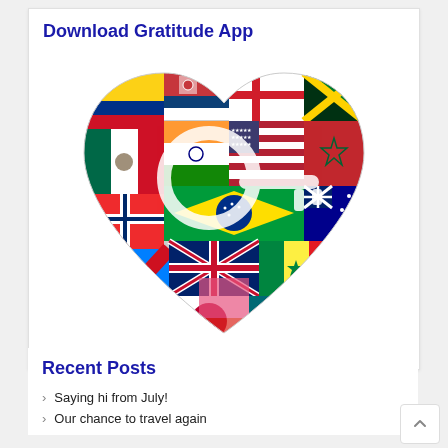Download Gratitude App
[Figure (illustration): Heart shape filled with colorful international flags from various countries including USA, Brazil, UK, Germany, India, Mexico, Japan, Australia, Norway, Portugal, Canada, Jamaica, Morocco, Lebanon, Senegal, Vietnam, Sweden, Zimbabwe, Serbia, Georgia, Spain, DR Congo and others, with a white key/app icon overlay in the center.]
Recent Posts
Saying hi from July!
Our chance to travel again